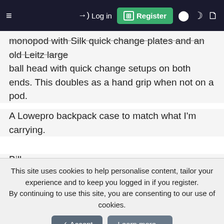Log in | Register
monopod with Silk quick change plates and an old Leitz large ball head with quick change setups on both ends. This doubles as a hand grip when not on a pod.
A Lowepro backpack case to match what I'm carrying.
Bill
MaxBerlin
Well-Known Member
This site uses cookies to help personalise content, tailor your experience and to keep you logged in if you register.
By continuing to use this site, you are consenting to our use of cookies.